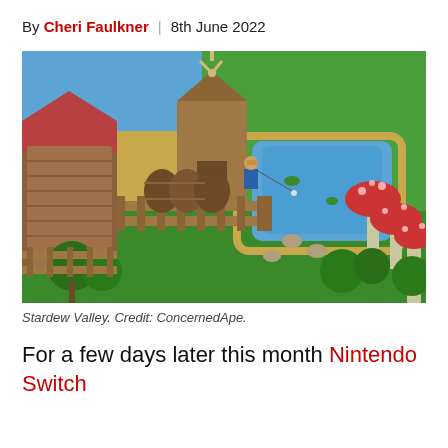By Cheri Faulkner | 8th June 2022
[Figure (screenshot): Screenshot from Stardew Valley showing a farm scene with a character fishing near a pond, a windmill building, barrels, a red-roofed cabin, mushrooms, and trees in a colorful pixel-art top-down view.]
Stardew Valley. Credit: ConcernedApe.
For a few days later this month Nintendo Switch